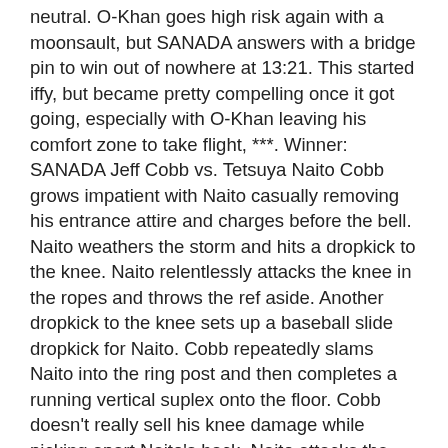neutral. O-Khan goes high risk again with a moonsault, but SANADA answers with a bridge pin to win out of nowhere at 13:21. This started iffy, but became pretty compelling once it got going, especially with O-Khan leaving his comfort zone to take flight, ***. Winner: SANADA Jeff Cobb vs. Tetsuya Naito Cobb grows impatient with Naito casually removing his entrance attire and charges before the bell. Naito weathers the storm and hits a dropkick to the knee. Naito relentlessly attacks the knee in the ropes and throws the ref aside. Another dropkick to the knee sets up a baseball slide dropkick for Naito. Cobb repeatedly slams Naito into the ring post and then completes a running vertical suplex onto the floor. Cobb doesn't really sell his knee damage while picking apart Naito's back. Naito attacks the knee again for an opening to hit a flurry of desperate offense. Naito teases a slingshot dropkick, but just kicks at the knee instead. Naito applies a deathlock, Cobb gets the ropes. Cobb answers with a dead lift overhead belly to belly suplex. Back suplex by Cobb and it literally stops receiving the end behind